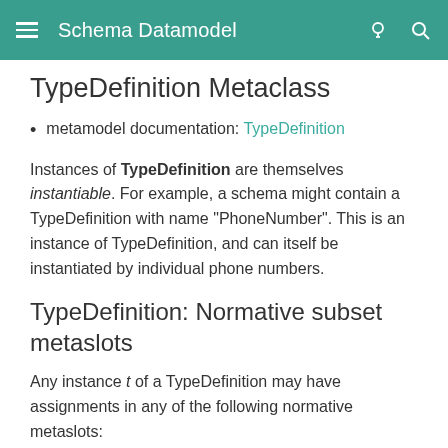Schema Datamodel
TypeDefinition Metaclass
metamodel documentation: TypeDefinition
Instances of TypeDefinition are themselves instantiable. For example, a schema might contain a TypeDefinition with name "PhoneNumber". This is an instance of TypeDefinition, and can itself be instantiated by individual phone numbers.
TypeDefinition: Normative subset metaslots
Any instance t of a TypeDefinition may have assignments in any of the following normative metaslots:
| Name | Cardinality and Range | Description |
| --- | --- | --- |